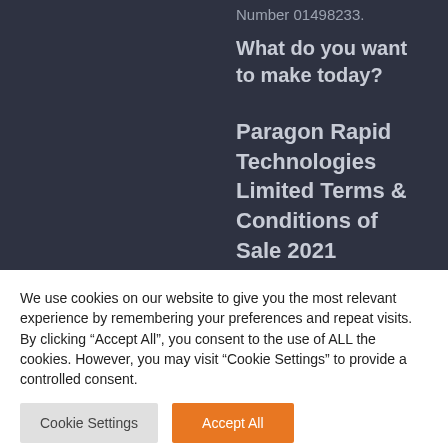Number 01498233.
What do you want to make today?
Paragon Rapid Technologies Limited Terms & Conditions of Sale 2021
We use cookies on our website to give you the most relevant experience by remembering your preferences and repeat visits. By clicking "Accept All", you consent to the use of ALL the cookies. However, you may visit "Cookie Settings" to provide a controlled consent.
Cookie Settings
Accept All